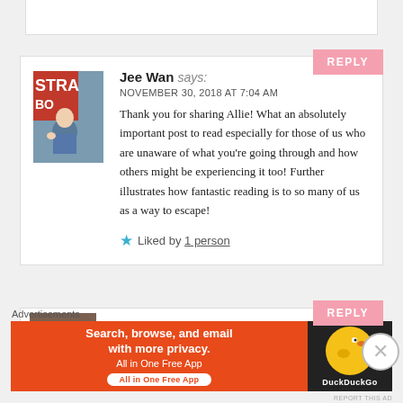Jee Wan says: NOVEMBER 30, 2018 AT 7:04 AM — Thank you for sharing Allie! What an absolutely important post to read especially for those of us who are unaware of what you're going through and how others might be experiencing it too! Further illustrates how fantastic reading is to so many of us as a way to escape!
Liked by 1 person
alliereads says:
Advertisements
[Figure (screenshot): DuckDuckGo advertisement banner: orange left section with text 'Search, browse, and email with more privacy. All in One Free App', dark right section with DuckDuckGo duck logo]